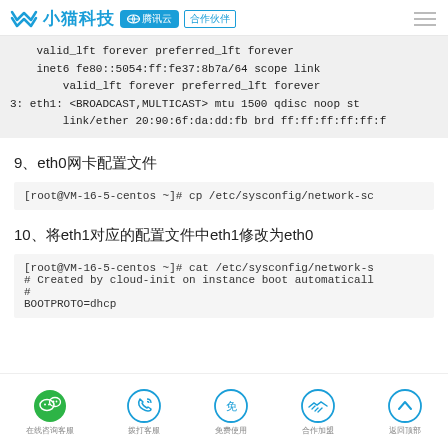小猫科技 腾讯云 合作伙伴
valid_lft forever preferred_lft forever
    inet6 fe80::5054:ff:fe37:8b7a/64 scope link
        valid_lft forever preferred_lft forever
3: eth1: <BROADCAST,MULTICAST> mtu 1500 qdisc noop st
        link/ether 20:90:6f:da:dd:fb brd ff:ff:ff:ff:ff:f
9、eth0网卡配置文件
[root@VM-16-5-centos ~]# cp /etc/sysconfig/network-sc
10、将eth1对应的配置文件中eth1修改为eth0
[root@VM-16-5-centos ~]# cat /etc/sysconfig/network-s
# Created by cloud-init on instance boot automaticall
#
BOOTPROTO=dhcp